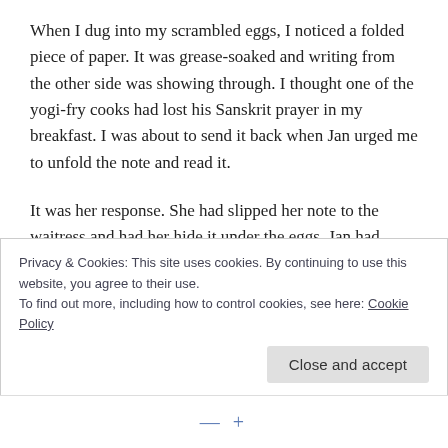When I dug into my scrambled eggs, I noticed a folded piece of paper. It was grease-soaked and writing from the other side was showing through. I thought one of the yogi-fry cooks had lost his Sanskrit prayer in my breakfast. I was about to send it back when Jan urged me to unfold the note and read it.
It was her response. She had slipped her note to the waitress and had her hide it under the eggs. Jan had taken the last verse of the poem and turned each line around into an affirmative response.
Privacy & Cookies: This site uses cookies. By continuing to use this website, you agree to their use.
To find out more, including how to control cookies, see here: Cookie Policy
Close and accept